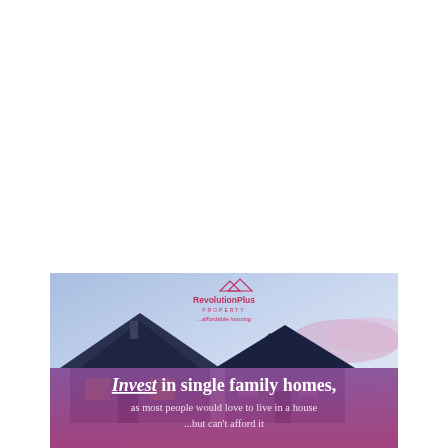[Figure (illustration): RevolutionPlus Property affordable housing promotional image showing a suburban single-family home with purple/blue hues at dusk, with company logo at top center, and a semi-transparent purple banner at the bottom containing promotional text.]
Invest in single family homes, as most people would love to live in a house ...but can't afford it